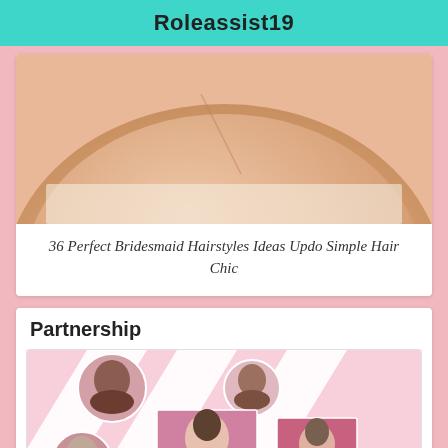Roleassist19
[Figure (photo): Close-up photo of a person's neck and collarbone area, skin tone, possibly wearing a white garment at the bottom]
36 Perfect Bridesmaid Hairstyles Ideas Updo Simple Hair Chic
Partnership
[Figure (photo): Collage of circular and rectangular photos of women's hairstyles on a pink background with diagonal white strips]